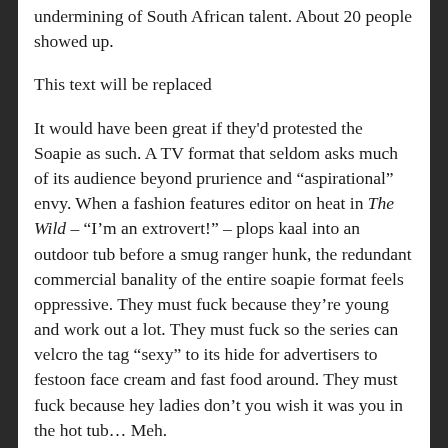undermining of South African talent. About 20 people showed up.
This text will be replaced
It would have been great if they'd protested the Soapie as such. A TV format that seldom asks much of its audience beyond prurience and “aspirational” envy. When a fashion features editor on heat in The Wild – “I’m an extrovert!” – plops kaal into an outdoor tub before a smug ranger hunk, the redundant commercial banality of the entire soapie format feels oppressive. They must fuck because they’re young and work out a lot. They must fuck so the series can velcro the tag “sexy” to its hide for advertisers to festoon face cream and fast food around. They must fuck because hey ladies don’t you wish it was you in the hot tub… Meh.
Imagine soapies re-engineered to put the mass attention and habitual devotion they enjoy (especially in “emerging economies” like our own) to work – critically exploring the dramatic global forces behind our social lives. That sounds like dreary Stalinist social